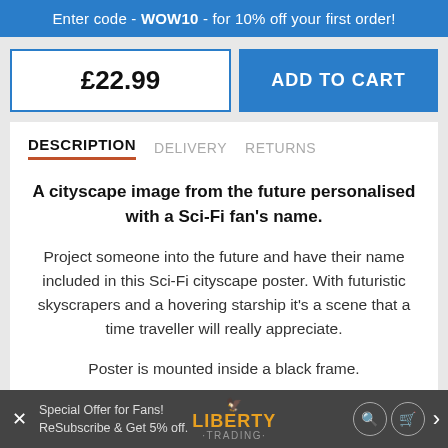Enter code - WOW10 - for 10% off your first order!
£22.99
ADD TO CART
DESCRIPTION
DELIVERY
RETURNS
A cityscape image from the future personalised with a Sci-Fi fan's name.
Project someone into the future and have their name included in this Sci-Fi cityscape poster. With futuristic skyscrapers and a hovering starship it's a scene that a time traveller will really appreciate.
Poster is mounted inside a black frame.
Special Offer for Fans! Subscribe & Get 5% off. LIBERTY TRADING